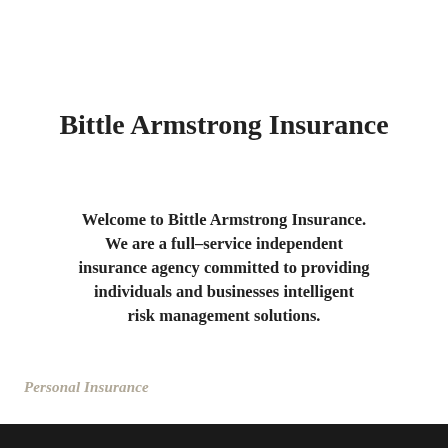Bittle Armstrong Insurance
Welcome to Bittle Armstrong Insurance. We are a full-service independent insurance agency committed to providing individuals and businesses intelligent risk management solutions.
Personal Insurance
[Figure (photo): Dark image bar at the bottom of the page, partially visible photograph]